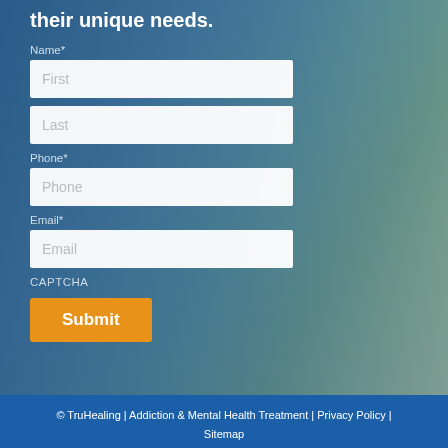their unique needs.
Name*
First
Last
Phone*
Phone
Email*
Email
CAPTCHA
Submit
© TruHealing | Addiction & Mental Health Treatment | Privacy Policy | Sitemap